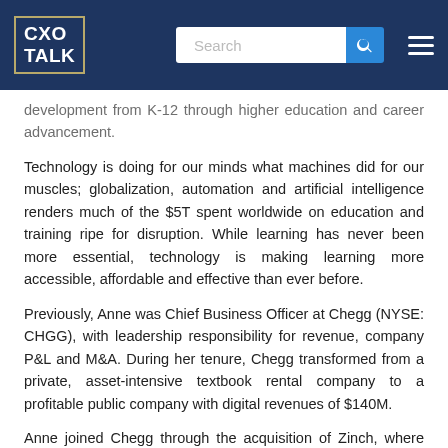CXO TALK | Search
development from K-12 through higher education and career advancement.
Technology is doing for our minds what machines did for our muscles; globalization, automation and artificial intelligence renders much of the $5T spent worldwide on education and training ripe for disruption. While learning has never been more essential, technology is making learning more accessible, affordable and effective than ever before.
Previously, Anne was Chief Business Officer at Chegg (NYSE: CHGG), with leadership responsibility for revenue, company P&L and M&A. During her tenure, Chegg transformed from a private, asset-intensive textbook rental company to a profitable public company with digital revenues of $140M.
Anne joined Chegg through the acquisition of Zinch, where she was CEO. Zinch enabled students globally to showcase themselves as learners to top universities and to connect with colleges and universities...